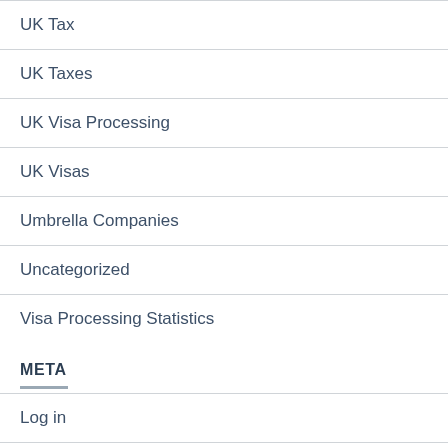UK Tax
UK Taxes
UK Visa Processing
UK Visas
Umbrella Companies
Uncategorized
Visa Processing Statistics
META
Log in
Entries feed
Comments feed